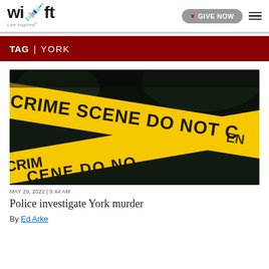witf | GIVE NOW
TAG | YORK
[Figure (photo): Yellow crime scene tape crossing diagonally with text 'CRIME SCENE DO NOT CROSS' against a dark background]
MAY 29, 2022 | 9:44 AM
Police investigate York murder
By Ed Arke